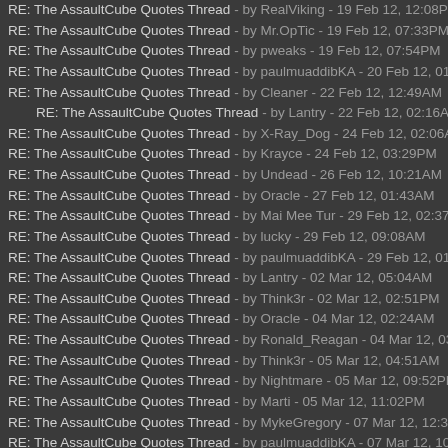RE: The AssaultCube Quotes Thread - by RealViking - 19 Feb 12, 12:08PM
RE: The AssaultCube Quotes Thread - by Mr.OpTic - 19 Feb 12, 07:33PM
RE: The AssaultCube Quotes Thread - by pweaks - 19 Feb 12, 07:54PM
RE: The AssaultCube Quotes Thread - by paulmuaddibKA - 20 Feb 12, 01:35PM
RE: The AssaultCube Quotes Thread - by Cleaner - 22 Feb 12, 12:49AM
RE: The AssaultCube Quotes Thread - by Lantry - 22 Feb 12, 02:16AM
RE: The AssaultCube Quotes Thread - by X-Ray_Dog - 24 Feb 12, 02:06AM
RE: The AssaultCube Quotes Thread - by Krayce - 24 Feb 12, 03:29PM
RE: The AssaultCube Quotes Thread - by Undead - 26 Feb 12, 10:21AM
RE: The AssaultCube Quotes Thread - by Oracle - 27 Feb 12, 01:43AM
RE: The AssaultCube Quotes Thread - by Mai Mee Tur - 29 Feb 12, 02:37AM
RE: The AssaultCube Quotes Thread - by lucky - 29 Feb 12, 09:08AM
RE: The AssaultCube Quotes Thread - by paulmuaddibKA - 29 Feb 12, 01:55PM
RE: The AssaultCube Quotes Thread - by Lantry - 02 Mar 12, 05:04AM
RE: The AssaultCube Quotes Thread - by Think3r - 02 Mar 12, 02:51PM
RE: The AssaultCube Quotes Thread - by Oracle - 04 Mar 12, 02:24AM
RE: The AssaultCube Quotes Thread - by Ronald_Reagan - 04 Mar 12, 03:36AM
RE: The AssaultCube Quotes Thread - by Think3r - 05 Mar 12, 04:51AM
RE: The AssaultCube Quotes Thread - by Nightmare - 05 Mar 12, 09:52PM
RE: The AssaultCube Quotes Thread - by Marti - 05 Mar 12, 11:02PM
RE: The AssaultCube Quotes Thread - by MykeGregory - 07 Mar 12, 12:31AM
RE: The AssaultCube Quotes Thread - by paulmuaddibKA - 07 Mar 12, 10:55PM
RE: The AssaultCube Quotes Thread - by Mr.OpTic - 08 Mar 12, 09:59PM
RE: The AssaultCube Quotes Thread - by Marti - 09 Mar 12, 05:20PM
RE: The AssaultCube Quotes Thread - by Andrez - 10 Mar 12, 12:07AM